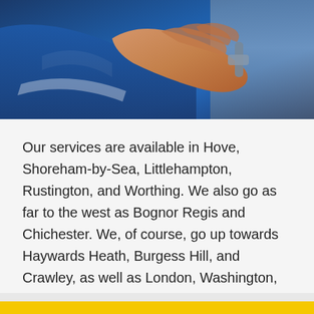[Figure (photo): A person in a blue uniform/jacket using their hand to operate a door handle or lock mechanism. Close-up photo showing hand and blue sleeve against a metallic surface.]
Our services are available in Hove, Shoreham-by-Sea, Littlehampton, Rustington, and Worthing. We also go as far to the west as Bognor Regis and Chichester. We, of course, go up towards Haywards Heath, Burgess Hill, and Crawley, as well as London, Washington, and Horsham. If, however, your location is not on the list, but you feel it's near the aforementioned areas, do reach out to us. We are the number one Haringey locksmith. Call today and find out how we can help!